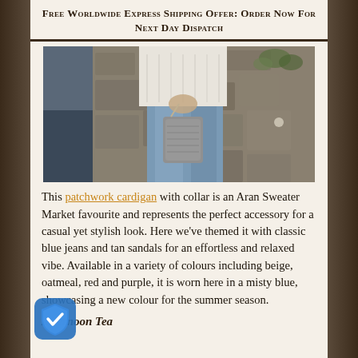Free Worldwide Express Shipping Offer: Order Now For Next Day Dispatch
[Figure (photo): Person wearing a white cable-knit patchwork cardigan with collar, blue jeans, holding a small grey knitted bag. Standing against a stone wall background.]
This patchwork cardigan with collar is an Aran Sweater Market favourite and represents the perfect accessory for a casual yet stylish look. Here we've themed it with classic blue jeans and tan sandals for an effortless and relaxed vibe. Available in a variety of colours including beige, oatmeal, red and purple, it is worn here in a misty blue, showcasing a new colour for the summer season.
Afternoon Tea